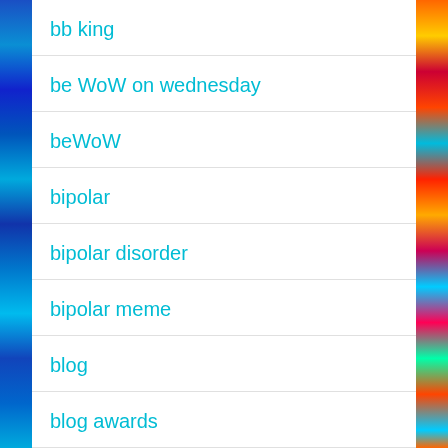bb king
be WoW on wednesday
beWoW
bipolar
bipolar disorder
bipolar meme
blog
blog awards
blogger